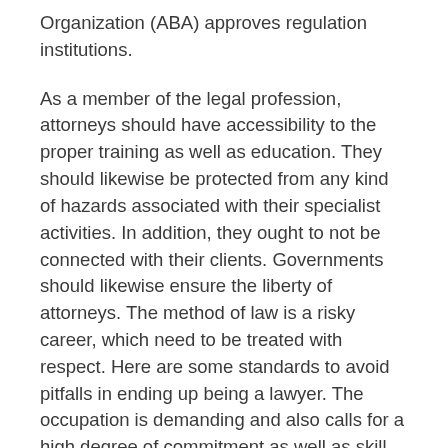Organization (ABA) approves regulation institutions.
As a member of the legal profession, attorneys should have accessibility to the proper training as well as education. They should likewise be protected from any kind of hazards associated with their specialist activities. In addition, they ought to not be connected with their clients. Governments should likewise ensure the liberty of attorneys. The method of law is a risky career, which need to be treated with respect. Here are some standards to avoid pitfalls in ending up being a lawyer. The occupation is demanding and also calls for a high degree of commitment as well as skill.
A lawyer must can engaging with clients as well as be a great listener. An attorney must be unflappable in court. It is necessary to be experienced at issue resolving and important thinking. As an attorney, you should be able to determine issues and develop